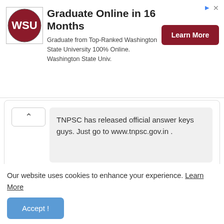[Figure (illustration): Advertisement banner: WSU logo, 'Graduate Online in 16 Months' heading, description text, and Learn More button]
TNPSC has released official answer keys guys. Just go to www.tnpsc.gov.in .
Reply   Delete
Anonymous
25 December 2014 at 18:08
Sir I have Group 2A marks to 126 any opperjunity for the
Our website uses cookies to enhance your experience. Learn More
Accept !